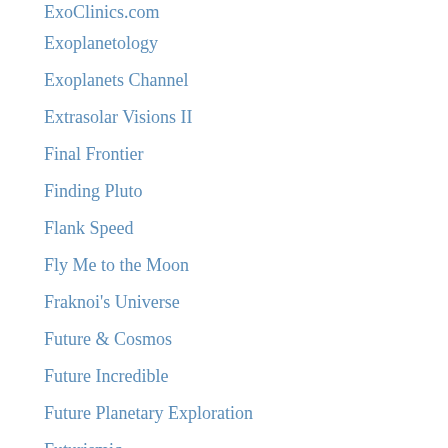ExoClinics.com
Exoplanetology
Exoplanets Channel
Extrasolar Visions II
Final Frontier
Finding Pluto
Flank Speed
Fly Me to the Moon
Fraknoi's Universe
Future & Cosmos
Future Incredible
Future Planetary Exploration
Futurismic
Galactic Journey
Gregory Benford
Habitable Worlds